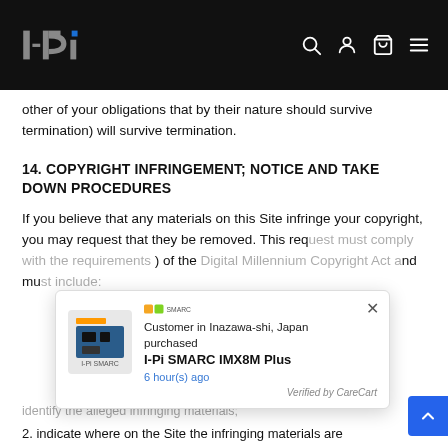I-Pi [logo] navigation header
other of your obligations that by their nature should survive termination) will survive termination.
14. COPYRIGHT INFRINGEMENT; NOTICE AND TAKE DOWN PROCEDURES
If you believe that any materials on this Site infringe your copyright, you may request that they be removed. This req... ) of the ... nd mu...
[Figure (screenshot): Popup notification: Customer in Inazawa-shi, Japan purchased I-Pi SMARC IMX8M Plus, 6 hour(s) ago. Verified by CareCart.]
1. identify the alleged infringing materials;
2. indicate where on the Site the infringing materials are